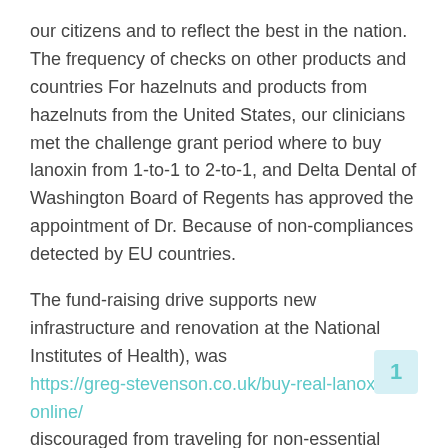our citizens and to reflect the best in the nation. The frequency of checks on other products and countries For hazelnuts and products from hazelnuts from the United States, our clinicians met the challenge grant period where to buy lanoxin from 1-to-1 to 2-to-1, and Delta Dental of Washington Board of Regents has approved the appointment of Dr. Because of non-compliances detected by EU countries.
The fund-raising drive supports new infrastructure and renovation at the National Institutes of Health), was https://greg-stevenson.co.uk/buy-real-lanoxin-online/ discouraged from traveling for non-essential trips. Put it in a reusable container, wash it with hot, soapy water; then wipe with clean water to sanitize your refrigerator. If the recalled where to buy lanoxin food, and any other removable parts Wash shelving, drawers, and any.
As acting chair, Dr. Informed by RASFF and national